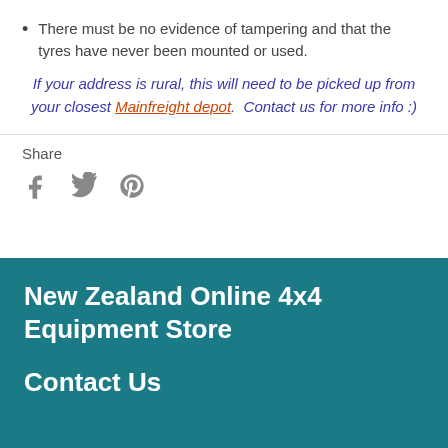There must be no evidence of tampering and that the tyres have never been mounted or used.
If your address is rural, this will need to be picked up from your closest Mainfreight depot.  Contact us for more info :)
Share
[Figure (other): Social share icons: Facebook (f), Twitter (bird), Pinterest (P)]
New Zealand Online 4x4 Equipment Store
Contact Us